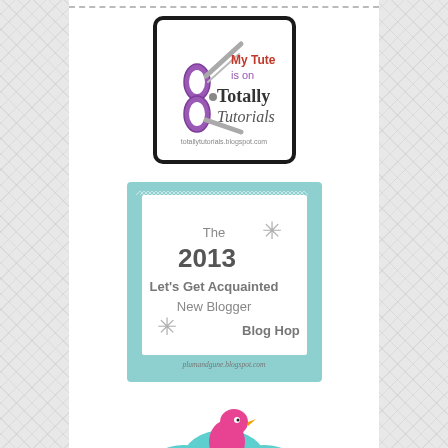[Figure (logo): My Tute is on Totally Tutorials badge with purple scissors logo and text, totallytutorials.blogspot.com]
[Figure (logo): The 2013 Let's Get Acquainted New Blogger Blog Hop badge on teal background with snowflake decorations, plumandgune.blogspot.com]
[Figure (illustration): Partial badge showing pink bird on teal cloud-like shape, partially cut off at bottom of page]